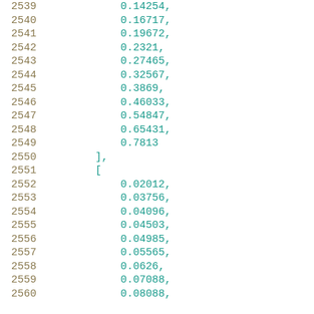2539    0.14254,
2540    0.16717,
2541    0.19672,
2542    0.2321,
2543    0.27465,
2544    0.32567,
2545    0.3869,
2546    0.46033,
2547    0.54847,
2548    0.65431,
2549    0.7813
2550    ],
2551    [
2552    0.02012,
2553    0.03756,
2554    0.04096,
2555    0.04503,
2556    0.04985,
2557    0.05565,
2558    0.0626,
2559    0.07088,
2560    0.08088,